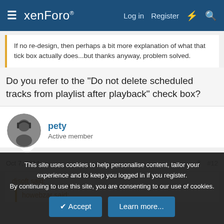xenForo — Log in  Register
If no re-design, then perhaps a bit more explanation of what that tick box actually does...but thanks anyway, problem solved.
Do you refer to the "Do not delete scheduled tracks from playlist after playback" check box?
pety
Active member
Oct 7, 2014  #12
djsoft said:
howebzar said:
This site uses cookies to help personalise content, tailor your experience and to keep you logged in if you register.
By continuing to use this site, you are consenting to our use of cookies.